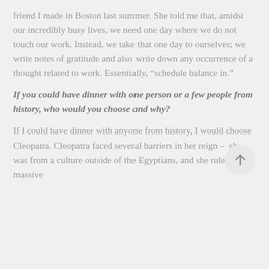friend I made in Boston last summer. She told me that, amidst our incredibly busy lives, we need one day where we do not touch our work. Instead, we take that one day to ourselves; we write notes of gratitude and also write down any occurrence of a thought related to work. Essentially, “schedule balance in.”
If you could have dinner with one person or a few people from history, who would you choose and why?
If I could have dinner with anyone from history, I would choose Cleopatra. Cleopatra faced several barriers in her reign – she was from a culture outside of the Egyptians, and she ruled a massive